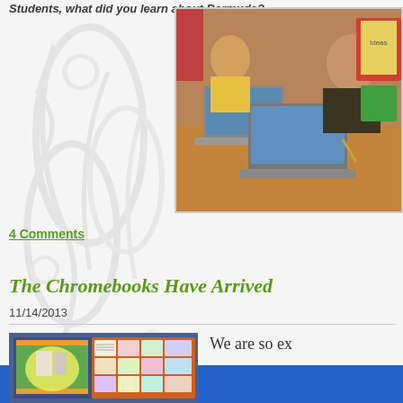Students, what did you learn about Bermuda?
[Figure (photo): Two young students working at a table with Chromebook laptops in a classroom setting, one writing with a pencil]
4 Comments
The Chromebooks Have Arrived
11/14/2013
[Figure (photo): Classroom bulletin board with colorful displays and student work]
We are so ex